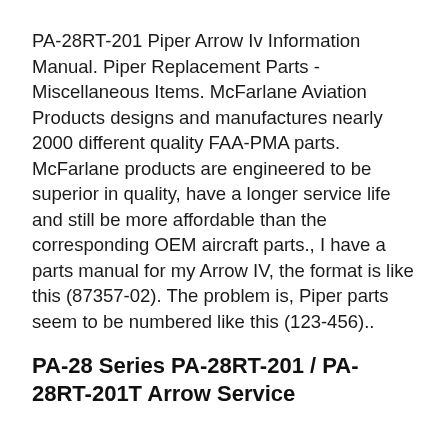PA-28RT-201 Piper Arrow Iv Information Manual. Piper Replacement Parts - Miscellaneous Items. McFarlane Aviation Products designs and manufactures nearly 2000 different quality FAA-PMA parts. McFarlane products are engineered to be superior in quality, have a longer service life and still be more affordable than the corresponding OEM aircraft parts., I have a parts manual for my Arrow IV, the format is like this (87357-02). The problem is, Piper parts seem to be numbered like this (123-456)..
PA-28 Series PA-28RT-201 / PA-28RT-201T Arrow Service